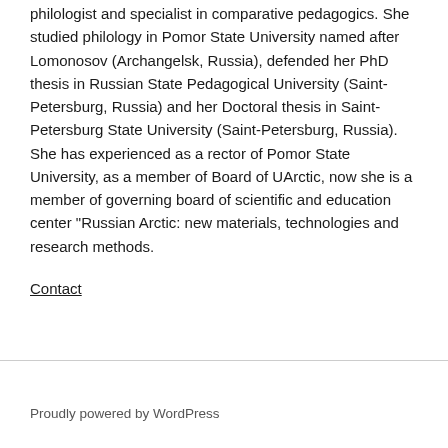philologist and specialist in comparative pedagogics. She studied philology in Pomor State University named after Lomonosov (Archangelsk, Russia), defended her PhD thesis in Russian State Pedagogical University (Saint-Petersburg, Russia) and her Doctoral thesis in Saint-Petersburg State University (Saint-Petersburg, Russia). She has experienced as a rector of Pomor State University, as a member of Board of UArctic, now she is a member of governing board of scientific and education center "Russian Arctic: new materials, technologies and research methods.
Contact
Proudly powered by WordPress